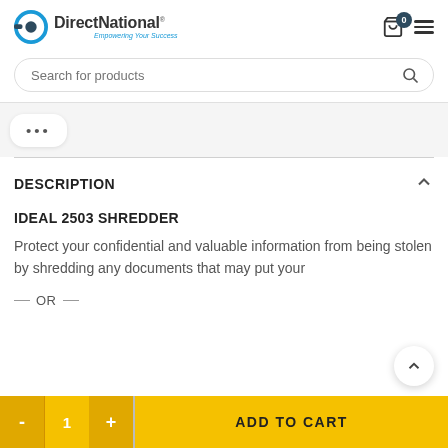DirectNational Empowering Your Success
Search for products
...
DESCRIPTION
IDEAL 2503 SHREDDER
Protect your confidential and valuable information from being stolen by shredding any documents that may put your
— OR —
ADD TO CART